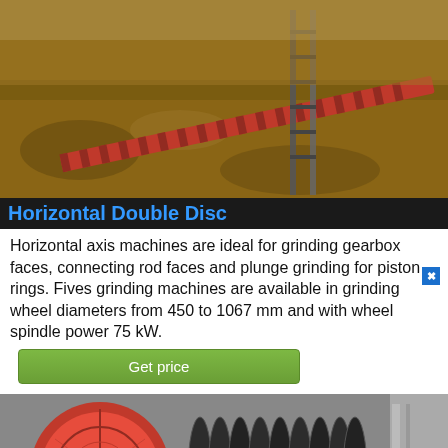[Figure (photo): Outdoor industrial conveyor or pipeline installation with red pipes/components on brown earthen ground, with metal frame structure]
Horizontal Double Disc
Horizontal axis machines are ideal for grinding gearbox faces, connecting rod faces and plunge grinding for piston rings. Fives grinding machines are available in grinding wheel diameters from 450 to 1067 mm and with wheel spindle power 75 kW.
[Figure (photo): Industrial machinery close-up showing a large orange/red cylindrical drum and multiple black disc-shaped grinding wheels arranged in a row, inside a factory setting]